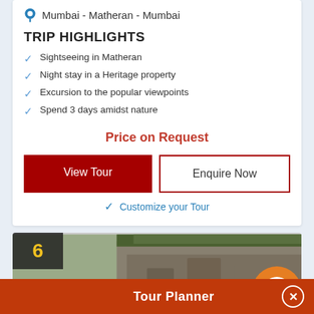Mumbai - Matheran - Mumbai
TRIP HIGHLIGHTS
Sightseeing in Matheran
Night stay in a Heritage property
Excursion to the popular viewpoints
Spend 3 days amidst nature
Price on Request
View Tour
Enquire Now
✓ Customize your Tour
[Figure (photo): Rock cliff landscape photo with number badge '6', green Filters button, and orange circle icon overlay]
Tour Planner